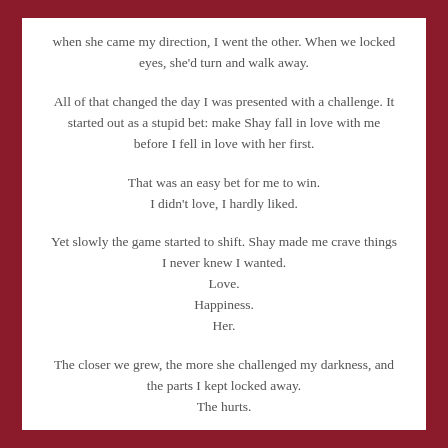when she came my direction, I went the other. When we locked eyes, she'd turn and walk away.
All of that changed the day I was presented with a challenge. It started out as a stupid bet: make Shay fall in love with me before I fell in love with her first.
That was an easy bet for me to win.
I didn't love, I hardly liked.
Yet slowly the game started to shift. Shay made me crave things I never knew I wanted.
Love.
Happiness.
Her.
The closer we grew, the more she challenged my darkness, and the parts I kept locked away.
The hurts.